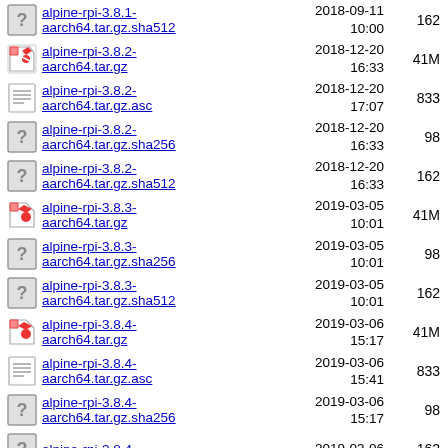alpine-rpi-3.8.1-aarch64.tar.gz.sha512  2018-09-11 10:00  162
alpine-rpi-3.8.2-aarch64.tar.gz  2018-12-20 16:33  41M
alpine-rpi-3.8.2-aarch64.tar.gz.asc  2018-12-20 17:07  833
alpine-rpi-3.8.2-aarch64.tar.gz.sha256  2018-12-20 16:33  98
alpine-rpi-3.8.2-aarch64.tar.gz.sha512  2018-12-20 16:33  162
alpine-rpi-3.8.3-aarch64.tar.gz  2019-03-05 10:01  41M
alpine-rpi-3.8.3-aarch64.tar.gz.sha256  2019-03-05 10:01  98
alpine-rpi-3.8.3-aarch64.tar.gz.sha512  2019-03-05 10:01  162
alpine-rpi-3.8.4-aarch64.tar.gz  2019-03-06 15:17  41M
alpine-rpi-3.8.4-aarch64.tar.gz.asc  2019-03-06 15:41  833
alpine-rpi-3.8.4-aarch64.tar.gz.sha256  2019-03-06 15:17  98
alpine-rpi-3.8.4-  2019-03-06  162